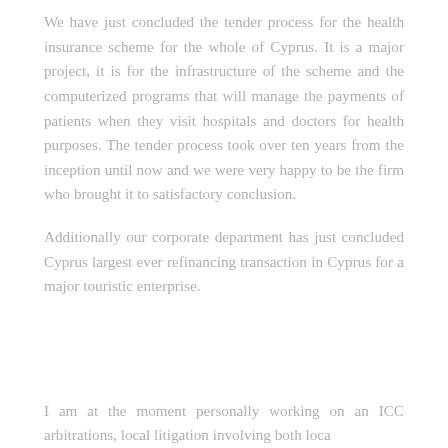We have just concluded the tender process for the health insurance scheme for the whole of Cyprus. It is a major project, it is for the infrastructure of the scheme and the computerized programs that will manage the payments of patients when they visit hospitals and doctors for health purposes. The tender process took over ten years from the inception until now and we were very happy to be the firm who brought it to satisfactory conclusion.
Additionally our corporate department has just concluded Cyprus largest ever refinancing transaction in Cyprus for a major touristic enterprise.
I am at the moment personally working on an ICC arbitrations, local litigation involving both loca...